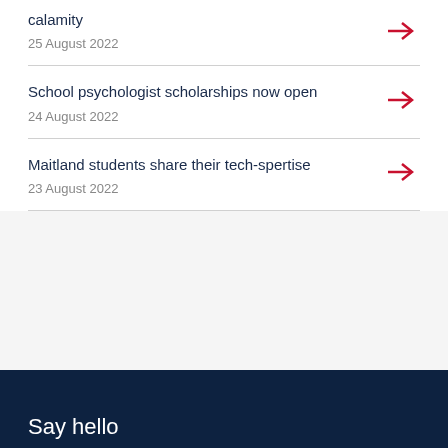calamity
25 August 2022
School psychologist scholarships now open
24 August 2022
Maitland students share their tech-spertise
23 August 2022
Say hello